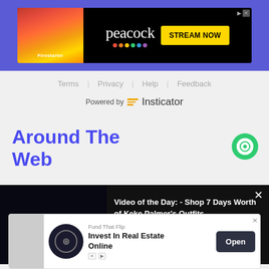[Figure (screenshot): Peacock streaming service advertisement banner with Firestarter movie image on left, Peacock logo and STREAM NOW button on dark background, set against purple website background]
Terms | Privacy | Help | Feedback
Powered by Insticator
Around The Web
[Figure (screenshot): Video player bar with dark background showing 'Video of the Day: - Shop 7 Days Worth of Keke Palmer's Outfits' with X close button]
[Figure (screenshot): Fund That Flip advertisement: Invest In Real Estate Online with Open button and X close button]